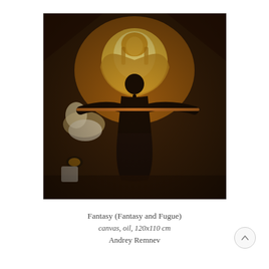[Figure (photo): A painting showing a woman in a dark dress viewed from behind, playing a flute with arms outstretched horizontally. A glowing golden Egyptian-style figure is illuminated behind her. A reclining figure in white is visible to the left. The overall palette is warm amber and dark brown tones.]
Fantasy (Fantasy and Fugue)
canvas, oil, 120x110 cm
Andrey Remnev